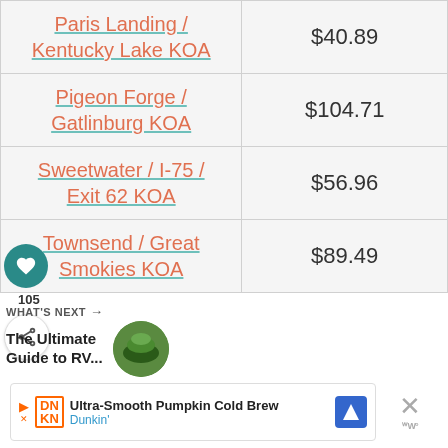| Location | Price |
| --- | --- |
| Paris Landing / Kentucky Lake KOA | $40.89 |
| Pigeon Forge / Gatlinburg KOA | $104.71 |
| Sweetwater / I-75 / Exit 62 KOA | $56.96 |
| Townsend / Great Smokies KOA | $89.49 |
WHAT'S NEXT → The Ultimate Guide to RV...
Ultra-Smooth Pumpkin Cold Brew Dunkin'